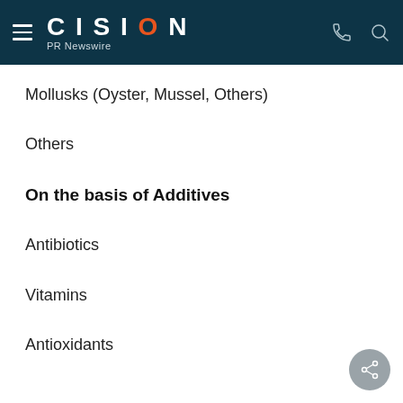CISION PR Newswire
Mollusks (Oyster, Mussel, Others)
Others
On the basis of Additives
Antibiotics
Vitamins
Antioxidants